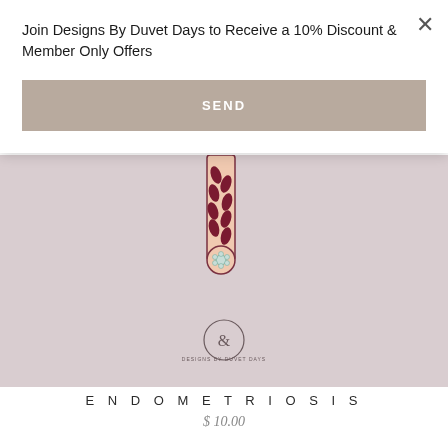Join Designs By Duvet Days to Receive a 10% Discount & Member Only Offers
SEND
[Figure (illustration): Product image on pink/mauve background showing a nail/bookmark illustration with dark red leaf pattern and a small flower, with 'Designs By Duvet Days' logo in circle at bottom center]
ENDOMETRIOSIS
$ 10.00